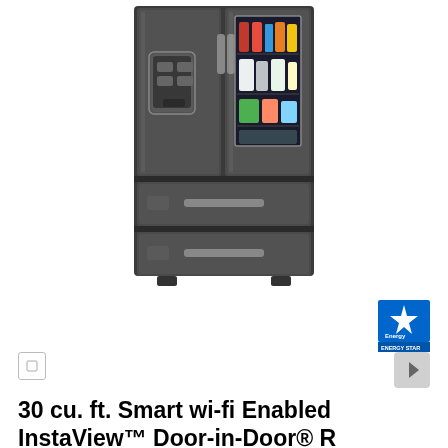[Figure (photo): LG French door refrigerator in black stainless steel finish with InstaView Door-in-Door feature. The refrigerator has four doors/drawers: two upper French doors (right door has a glass InstaView panel showing interior contents including beverages and food items, left door has an external water/ice dispenser), one middle drawer, and one bottom freezer drawer.]
[Figure (logo): ENERGY STAR certification badge - blue square with white star and 'ENERGY STAR' text below]
30 cu. ft. Smart wi-fi Enabled InstaView™ Door-in-Door® Refrigerator with Craft Ice™